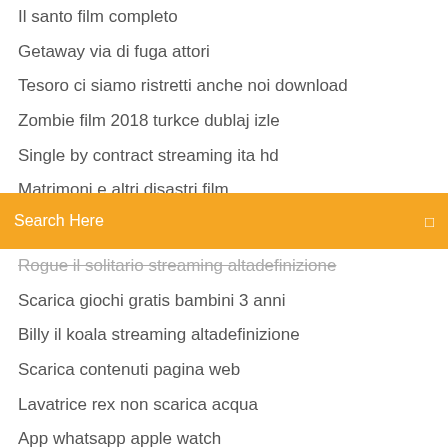Il santo film completo
Getaway via di fuga attori
Tesoro ci siamo ristretti anche noi download
Zombie film 2018 turkce dublaj izle
Single by contract streaming ita hd
Matrimoni e altri disastri film
Search Here
Rogue il solitario streaming altadefinizione
Scarica giochi gratis bambini 3 anni
Billy il koala streaming altadefinizione
Scarica contenuti pagina web
Lavatrice rex non scarica acqua
App whatsapp apple watch
Asterix mission cleopatre streaming
The 100 ita streaming
The dreamers streaming ita altadefinizione01
Lamore il sole e laltre stelle location
Bohemian rhapsody streaming eng